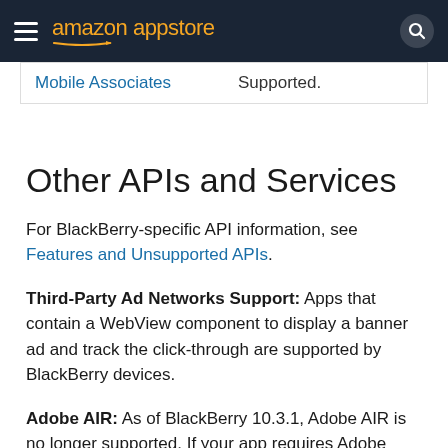amazon appstore
| Mobile Associates | Supported. |
Other APIs and Services
For BlackBerry-specific API information, see Features and Unsupported APIs.
Third-Party Ad Networks Support: Apps that contain a WebView component to display a banner ad and track the click-through are supported by BlackBerry devices.
Adobe AIR: As of BlackBerry 10.3.1, Adobe AIR is no longer supported. If your app requires Adobe AIR, build your app as an Android app, or use BlackBerry WebWorks to port your app to